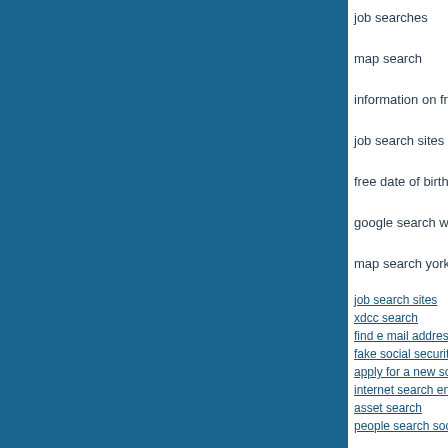[Figure (other): Large dark teal/blue rectangle filling the left ~78% of the page]
job searches
map search
information on fran…
job search sites hy…
free date of birth se…
google search www…
map search yorksh…
job search sites
xdcc search
find e mail address…
fake social security…
apply for a new soc…
internet search eng…
asset search
people search soci…